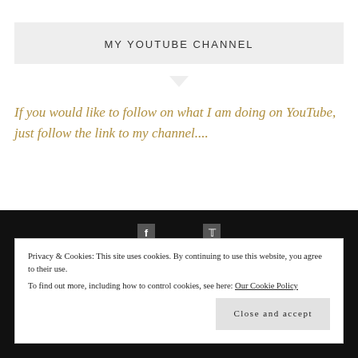MY YOUTUBE CHANNEL
If you would like to follow on what I am doing on YouTube, just follow the link to my channel....
Privacy & Cookies: This site uses cookies. By continuing to use this website, you agree to their use.
To find out more, including how to control cookies, see here: Our Cookie Policy
Close and accept